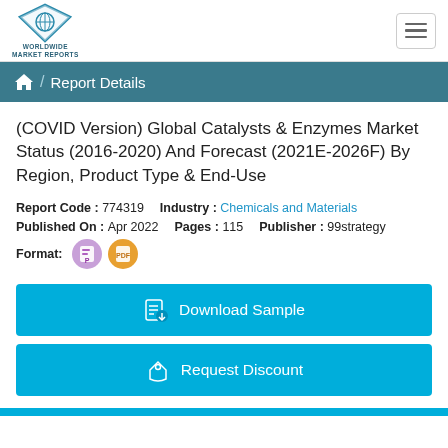[Figure (logo): Worldwide Market Reports logo with diamond shield icon and company name]
Report Details
(COVID Version) Global Catalysts & Enzymes Market Status (2016-2020) And Forecast (2021E-2026F) By Region, Product Type & End-Use
Report Code : 774319    Industry : Chemicals and Materials
Published On : Apr 2022    Pages : 115    Publisher : 99strategy
Format: [PowerPoint icon] [PDF icon]
Download Sample
Request Discount